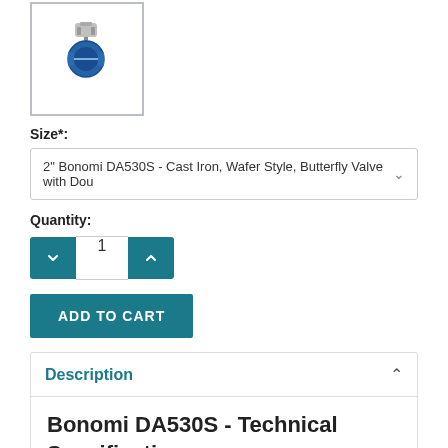[Figure (photo): Thumbnail image of Bonomi DA530S butterfly valve with double acting actuator, blue colored valve]
Size*:
2" Bonomi DA530S - Cast Iron, Wafer Style, Butterfly Valve with Dou
Quantity:
1
ADD TO CART
Description
Bonomi DA530S - Technical Specification